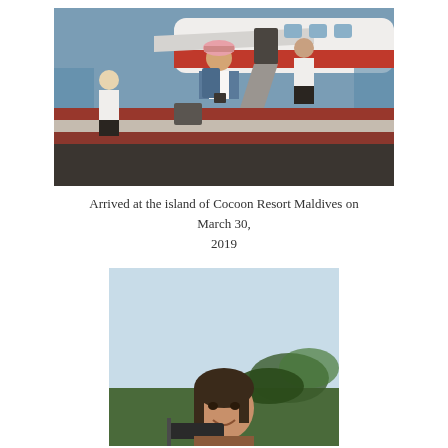[Figure (photo): A woman in a pink hat and backpack smiling near a seaplane dock, with crew and luggage around her. The seaplane is white with a red stripe.]
Arrived at the island of Cocoon Resort Maldives on March 30, 2019
[Figure (photo): A woman taking a selfie outdoors with blue sky and palm trees in the background.]